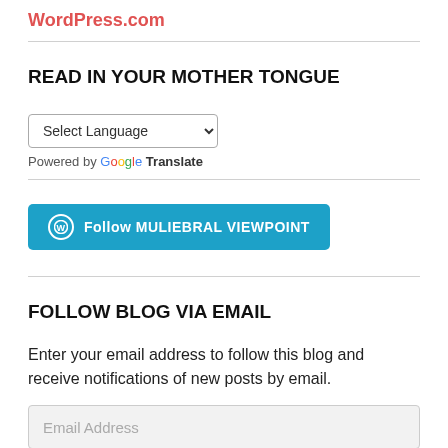WordPress.com
READ IN YOUR MOTHER TONGUE
Select Language
Powered by Google Translate
[Figure (other): Follow MULIEBRAL VIEWPOINT button with WordPress logo icon]
FOLLOW BLOG VIA EMAIL
Enter your email address to follow this blog and receive notifications of new posts by email.
Email Address